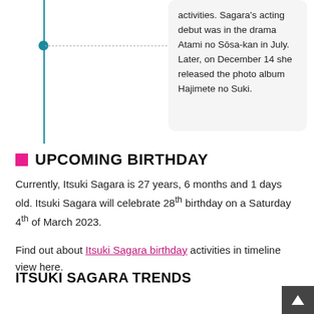activities. Sagara's acting debut was in the drama Atami no Sōsa-kan in July. Later, on December 14 she released the photo album Hajimete no Suki.
UPCOMING BIRTHDAY
Currently, Itsuki Sagara is 27 years, 6 months and 1 days old. Itsuki Sagara will celebrate 28th birthday on a Saturday 4th of March 2023.
Find out about Itsuki Sagara birthday activities in timeline view here.
ITSUKI SAGARA TRENDS